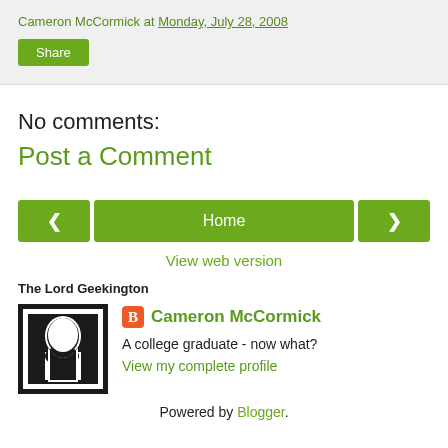Cameron McCormick at Monday, July 28, 2008
Share
No comments:
Post a Comment
< Home >
View web version
The Lord Geekington
Cameron McCormick
A college graduate - now what?
View my complete profile
Powered by Blogger.